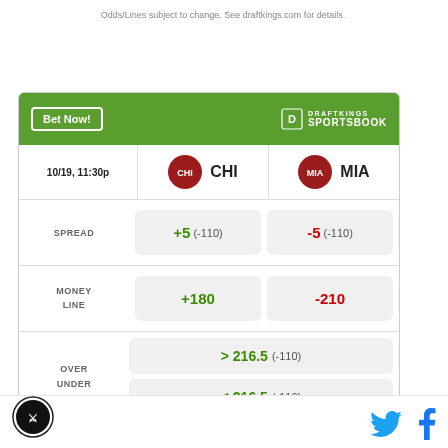Odds/Lines subject to change. See draftkings.com for details.
|  | CHI | MIA |
| --- | --- | --- |
| 10/19, 11:30p | CHI | MIA |
| SPREAD | +5 (-110) | -5 (-110) |
| MONEY LINE | +180 | -210 |
| OVER UNDER | > 216.5 (-110) | < 216.5 (-110) |
Odds/Lines subject to change. See draftkings.com for details.